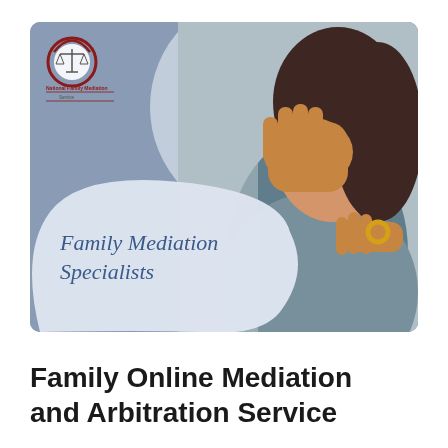[Figure (illustration): An advertisement-style image card with a steel-blue/grey background. On the left side is a logo (circular scales of justice icon with red spiral ring) labeled 'National Family Mediation Service'. A large white circle decorative element sits in the upper center. On the right, a photo of a distressed woman covering her face with one hand while holding a wedding ring in the other hand. Over a white speech-bubble blob in the lower-left of the card, cursive/italic text reads 'Family Mediation Specialists' in dark blue.]
Family Online Mediation and Arbitration Service